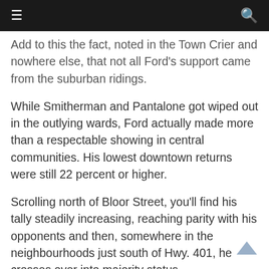≡  [navigation bar with hamburger menu and search icon]
Add to this the fact, noted in the Town Crier and nowhere else, that not all Ford's support came from the suburban ridings.
While Smitherman and Pantalone got wiped out in the outlying wards, Ford actually made more than a respectable showing in central communities. His lowest downtown returns were still 22 percent or higher.
Scrolling north of Bloor Street, you'll find his tally steadily increasing, reaching parity with his opponents and then, somewhere in the neighbourhoods just south of Hwy. 401, he crosses over into majority status.
Without these midtown votes Rob Ford would not have become mayor of Toronto.